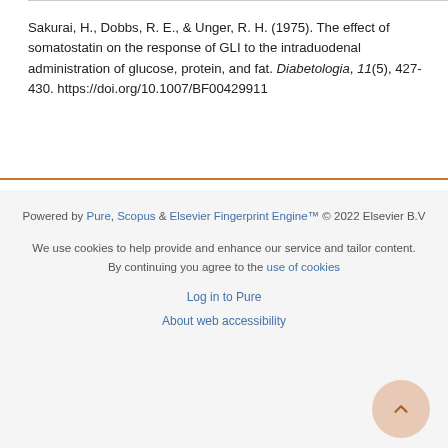Sakurai, H., Dobbs, R. E., & Unger, R. H. (1975). The effect of somatostatin on the response of GLI to the intraduodenal administration of glucose, protein, and fat. Diabetologia, 11(5), 427-430. https://doi.org/10.1007/BF00429911
Powered by Pure, Scopus & Elsevier Fingerprint Engine™ © 2022 Elsevier B.V

We use cookies to help provide and enhance our service and tailor content. By continuing you agree to the use of cookies

Log in to Pure

About web accessibility